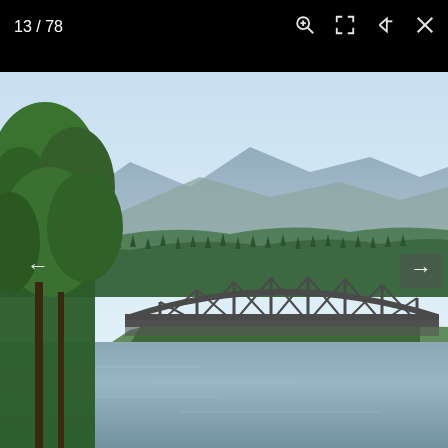13 / 78
[Figure (photo): A steel truss arch bridge spanning a wide river, with dense green trees on the left bank, green forested hills and a mountain range under a pale blue hazy sky in the background. Calm river water in the foreground reflecting the scene.]